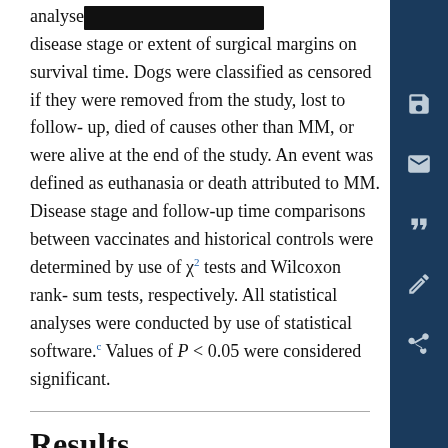analyse[redacted] disease stage or extent of surgical margins on survival time. Dogs were classified as censored if they were removed from the study, lost to follow-up, died of causes other than MM, or were alive at the end of the study. An event was defined as euthanasia or death attributed to MM. Disease stage and follow-up time comparisons between vaccinates and historical controls were determined by use of χ² tests and Wilcoxon rank-sum tests, respectively. All statistical analyses were conducted by use of statistical software.c Values of P < 0.05 were considered significant.
Results
Fifty-eight dogs met the criteria for prospective enrollment in the study, and 53 dogs met the